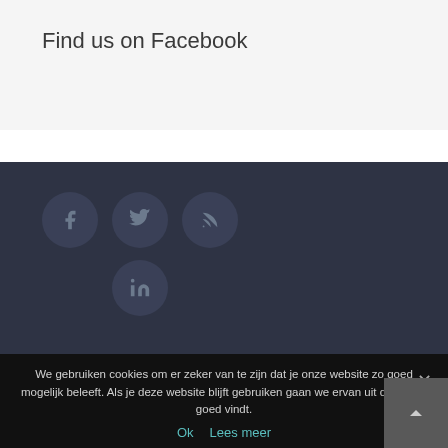Find us on Facebook
[Figure (infographic): Social media icon buttons in dark circles: Facebook (f), Twitter (bird), RSS (wave), LinkedIn (in)]
We gebruiken cookies om er zeker van te zijn dat je onze website zo goed mogelijk beleeft. Als je deze website blijft gebruiken gaan we ervan uit dat je dat goed vindt.
Ok   Lees meer